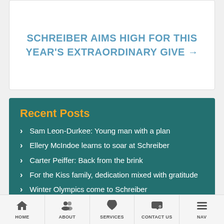SCHREIBER AIMS HIGH FOR THIS YEAR'S EXTRAORDINARY GIVE →
Recent Posts
Sam Leon-Durkee: Young man with a plan
Ellery McIndoe learns to soar at Schreiber
Carter Peiffer: Back from the brink
For the Kiss family, dedication mixed with gratitude
Winter Olympics come to Schreiber
HOME  ABOUT  SERVICES  CONTACT US  NAV